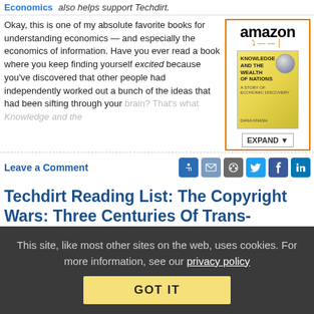Economics   also helps support Techdirt.
Okay, this is one of my absolute favorite books for understanding economics — and especially the economics of information. Have you ever read a book where you keep finding yourself excited because you've discovered that other people had independently worked out a bunch of the ideas that had been sifting through your brain? That's what Knowledge and the...
[Figure (other): Amazon advertisement box with amazon logo and book cover for 'Knowledge and the Wealth of Nations' with globe graphic and Expand button]
Leave a Comment
[Figure (other): Share icons: link, mail, reddit, twitter, facebook, linkedin]
Techdirt Reading List: The Copyright Wars: Three Centuries Of Trans-Atlantic Battle
for their newsletter
This site, like most other sites on the web, uses cookies. For more information, see our privacy policy
GOT IT